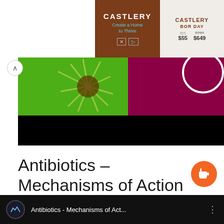[Figure (screenshot): Castlery advertisement banner with brown background, brand name CASTLERY, tagline 'Create a Home to Thrive', product images, prices $55 and $649 (was $769)]
[Figure (screenshot): Video thumbnail showing green and magenta/dark pink bacterial illustration with spiky shapes on top half, black bar on bottom half]
Antibiotics – Mechanisms of Action Animation
[Figure (screenshot): Video player bar at bottom showing channel icon with waveform logo, title 'Antibiotics - Mechanisms of Act...' on black background with three-dot menu icon]
[Figure (illustration): Orange circular coffee cup button (Buy Me a Coffee style widget) in bottom right corner]